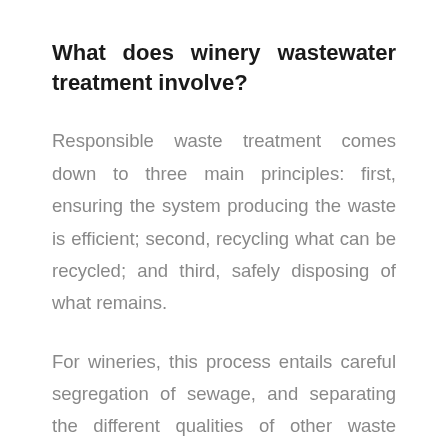What does winery wastewater treatment involve?
Responsible waste treatment comes down to three main principles: first, ensuring the system producing the waste is efficient; second, recycling what can be recycled; and third, safely disposing of what remains.
For wineries, this process entails careful segregation of sewage, and separating the different qualities of other waste streams. Good quality